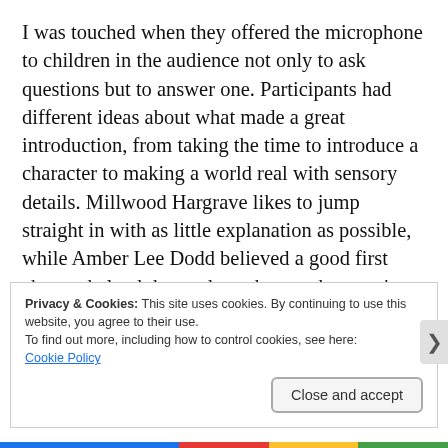I was touched when they offered the microphone to children in the audience not only to ask questions but to answer one. Participants had different ideas about what made a great introduction, from taking the time to introduce a character to making a world real with sensory details. Millwood Hargrave likes to jump straight in with as little explanation as possible, while Amber Lee Dodd believed a good first chapter helped the reader to hear a character's voice.
Privacy & Cookies: This site uses cookies. By continuing to use this website, you agree to their use.
To find out more, including how to control cookies, see here:
Cookie Policy
Close and accept